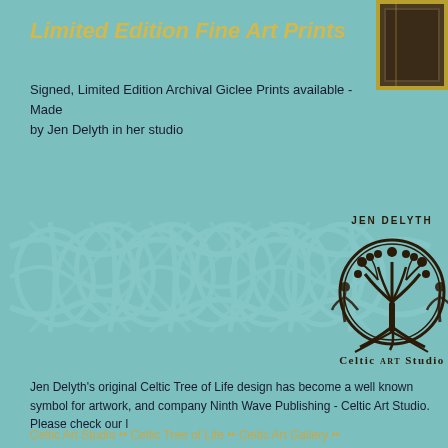Limited Edition Fine Art Prints
Signed, Limited Edition Archival Giclee Prints available - Made by Jen Delyth in her studio
[Figure (illustration): Celtic knotwork banner on teal background with Jen Delyth Celtic Art Studio logo featuring a tree of life design in a circle with two figures]
Jen Delyth's original Celtic Tree of Life design has become a well known symbol for artwork, and company Ninth Wave Publishing - Celtic Art Studio. Please check our l
Celtic Art Studio •• Celtic Tree of Life •• Celtic Art Gallery •• www.celticartstudio.com c
This web site and all its contents copyright Ninth Wave Publishing - Celtic Art Studio
Site last updated January 2020